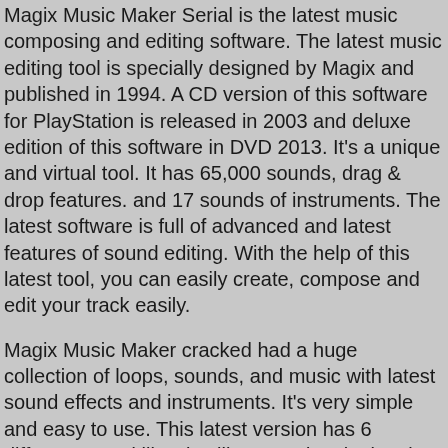Magix Music Maker Serial is the latest music composing and editing software. The latest music editing tool is specially designed by Magix and published in 1994. A CD version of this software for PlayStation is released in 2003 and deluxe edition of this software in DVD 2013. It's a unique and virtual tool. It has 65,000 sounds, drag & drop features. and 17 sounds of instruments. The latest software is full of advanced and latest features of sound editing. With the help of this latest tool, you can easily create, compose and edit your track easily.
Magix Music Maker cracked had a huge collection of loops, sounds, and music with latest sound effects and instruments. It's very simple and easy to use. This latest version has 6 different sound libraries like Soundpool, electric piano, 99 tracks with a vocal tune, beatbox, drum engine, Vandal guitar and much more others you want. It's a latest and professional tool specially designed and checked by professionals. This